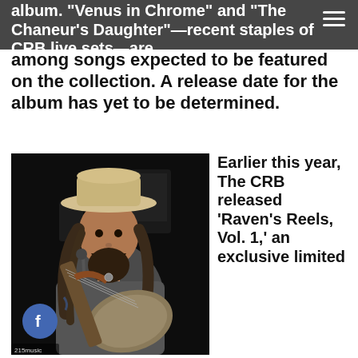album. "Venus in Chrome" and "The Chaneur's Daughter"—recent staples of CRB live sets—are among songs expected to be featured on the collection. A release date for the album has yet to be determined.
among songs expected to be featured on the collection. A release date for the album has yet to be determined.
[Figure (photo): A bearded male musician with long hair and a wide-brimmed hat playing a Stratocaster-style electric guitar on stage, singing into a microphone. Photo credit: 215music]
Earlier this year, The CRB released 'Raven's Reels, Vol. 1,' an exclusive limited